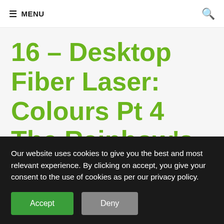MENU
16 – Desktop Fiber Laser: Colours Pt 4 The Rainbow's End
Our website uses cookies to give you the best and most relevant experience. By clicking on accept, you give your consent to the use of cookies as per our privacy policy.